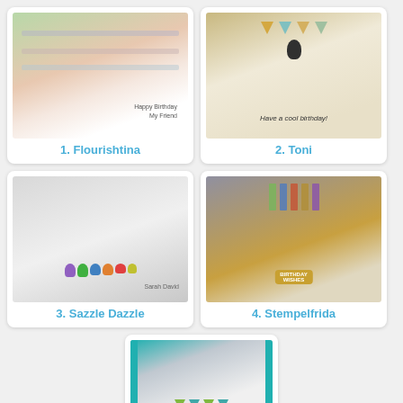[Figure (photo): Handmade birthday card with layered watercolor stripes and text 'Happy Birthday My Friend']
1. Flourishtina
[Figure (photo): Handmade birthday card with bunting banner and penguin, text 'Have a cool birthday!']
2. Toni
[Figure (photo): Handmade card with colorful cartoon monster characters on a hill]
3. Sazzle Dazzle
[Figure (photo): Handmade birthday card with illustrated cat and ties, text 'Birthday Wishes']
4. Stempelfrida
[Figure (photo): Handmade card with teal frame and bunting banner decoration]